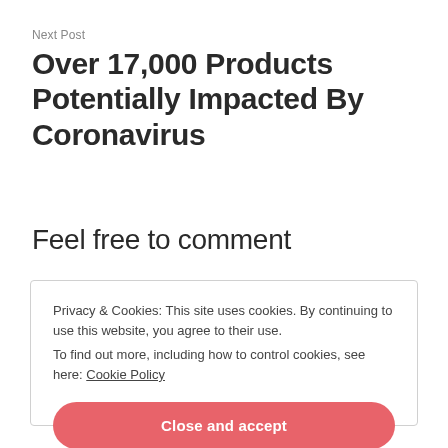Next Post
Over 17,000 Products Potentially Impacted By Coronavirus
Feel free to comment
Privacy & Cookies: This site uses cookies. By continuing to use this website, you agree to their use.
To find out more, including how to control cookies, see here: Cookie Policy
Close and accept